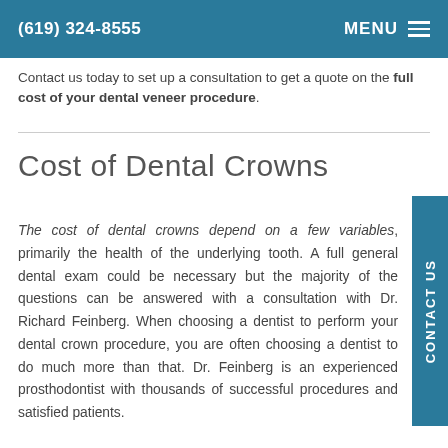(619) 324-8555   MENU
Contact us today to set up a consultation to get a quote on the full cost of your dental veneer procedure.
Cost of Dental Crowns
The cost of dental crowns depend on a few variables, primarily the health of the underlying tooth. A full general dental exam could be necessary but the majority of the questions can be answered with a consultation with Dr. Richard Feinberg. When choosing a dentist to perform your dental crown procedure, you are often choosing a dentist to do much more than that. Dr. Feinberg is an experienced prosthodontist with thousands of successful procedures and satisfied patients.